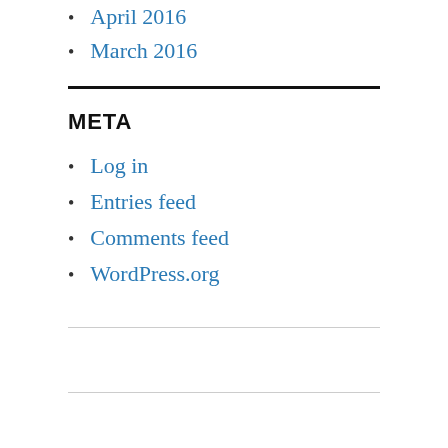April 2016
March 2016
META
Log in
Entries feed
Comments feed
WordPress.org